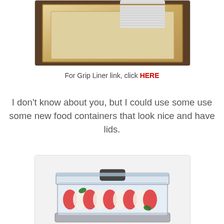[Figure (photo): Photo of a wooden drawer organizer tray with a grip liner visible in the top right corner, on a dark wood surface.]
For Grip Liner link, click HERE
I don't know about you, but I could use some use some new food containers that look nice and have lids.
[Figure (photo): Photo of a clear glass food storage container with a dark gray locking lid, containing sliced tomatoes, mozzarella, and basil (caprese salad).]